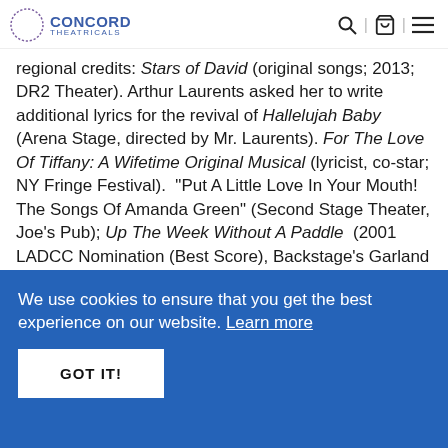CONCORD THEATRICALS
regional credits: Stars of David (original songs; 2013; DR2 Theater). Arthur Laurents asked her to write additional lyrics for the revival of Hallelujah Baby (Arena Stage, directed by Mr. Laurents). For The Love Of Tiffany: A Wifetime Original Musical (lyricist, co-star; NY Fringe Festival).  "Put A Little Love In Your Mouth! The Songs Of Amanda Green" (Second Stage Theater, Joe's Pub); Up The Week Without A Paddle  (2001 LADCC Nomination (Best Score), Backstage's Garland Award (Best Score).  She is also an award-winning performer (2 MAC Awards, BISTRO Award) who performs her work along
We use cookies to ensure that you get the best experience on our website. Learn more
GOT IT!